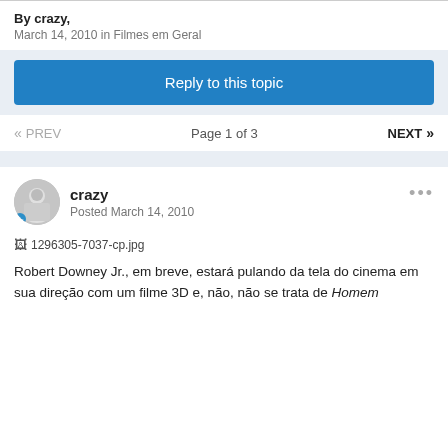By crazy,
March 14, 2010 in Filmes em Geral
Reply to this topic
« PREV   Page 1 of 3   NEXT »
crazy
Posted March 14, 2010
[Figure (photo): Broken image placeholder showing filename: 1296305-7037-cp.jpg]
Robert Downey Jr., em breve, estará pulando da tela do cinema em sua direção com um filme 3D e, não, não se trata de Homem